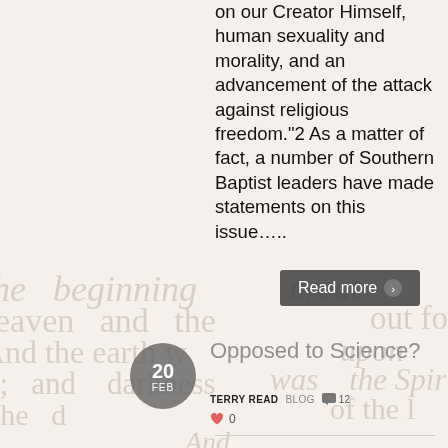on our Creator Himself, human sexuality and morality, and an advancement of the attack against religious freedom."2 As a matter of fact, a number of Southern Baptist leaders have made statements on this issue…..
Read more ›
20 FEB
Opposed to Science?
TERRY READ   BLOG   💬 12
♥ 0
Robert Reich says that the